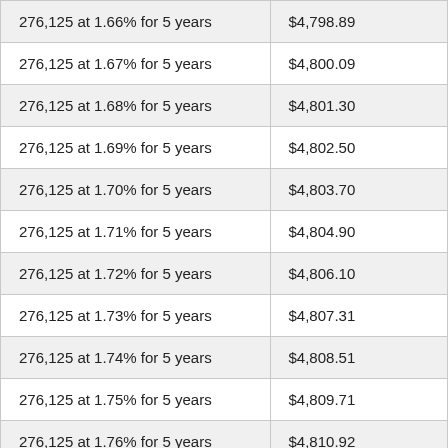| 276,125 at 1.66% for 5 years | $4,798.89 |
| 276,125 at 1.67% for 5 years | $4,800.09 |
| 276,125 at 1.68% for 5 years | $4,801.30 |
| 276,125 at 1.69% for 5 years | $4,802.50 |
| 276,125 at 1.70% for 5 years | $4,803.70 |
| 276,125 at 1.71% for 5 years | $4,804.90 |
| 276,125 at 1.72% for 5 years | $4,806.10 |
| 276,125 at 1.73% for 5 years | $4,807.31 |
| 276,125 at 1.74% for 5 years | $4,808.51 |
| 276,125 at 1.75% for 5 years | $4,809.71 |
| 276,125 at 1.76% for 5 years | $4,810.92 |
| 276,125 at 1.77% for 5 years | $4,812.12 |
| 276,125 at 1.78% for 5 years | $4,813.32 |